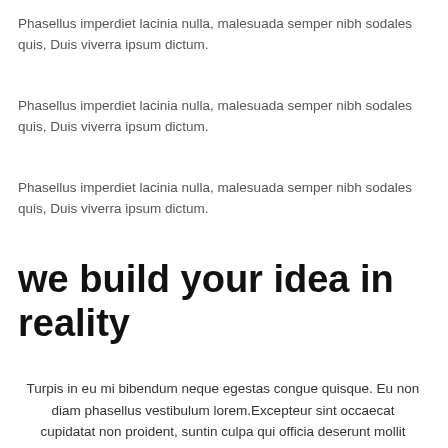Phasellus imperdiet lacinia nulla, malesuada semper nibh sodales quis, Duis viverra ipsum dictum.
Phasellus imperdiet lacinia nulla, malesuada semper nibh sodales quis, Duis viverra ipsum dictum.
Phasellus imperdiet lacinia nulla, malesuada semper nibh sodales quis, Duis viverra ipsum dictum.
we build your idea in reality
Turpis in eu mi bibendum neque egestas congue quisque. Eu non diam phasellus vestibulum lorem.Excepteur sint occaecat cupidatat non proident, suntin culpa qui officia deserunt mollit animid est laborum.Phasellus imperdiet lacinia nulla,